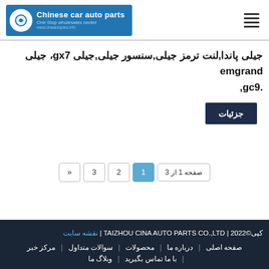[Figure (logo): Chinese car auto parts logo with blue background, wrench icon, and text 'Chinese car auto parts / One Stop wholesales center']
جیلی پاندا,لنت ترمز جیلی,سنسور جیلی,جیلی gx7، جیلی emgrand ,gc9.
جزئیات
صفحه 1 از 3  2  3  «
©کپی 2022 | TAIZHOU CINA AUTO PARTS CO.,LTD | نقشه سایت
صفحه اصلی | درباره ما | محصولات | سوالات متداول | مرکز خبر | با ما تماس بگیرید | وبلاگ ما